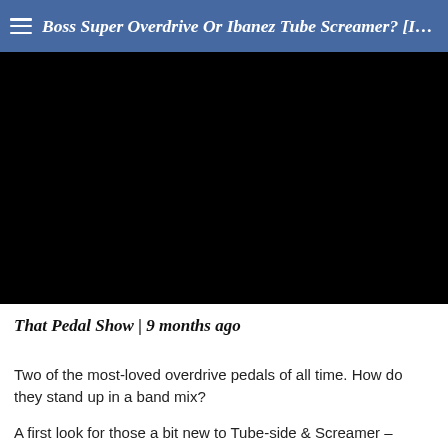Boss Super Overdrive Or Ibanez Tube Screamer? [In...
[Figure (screenshot): Black video player area, appears to be an embedded video with no visible preview/thumbnail]
That Pedal Show | 9 months ago
Two of the most-loved overdrive pedals of all time. How do they stand up in a band mix?
A first look for those a bit new to Tube-side & Screamer – there's a...